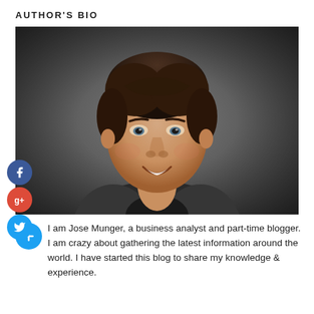AUTHOR'S BIO
[Figure (photo): Professional headshot of Jose Munger, a smiling man with dark hair wearing a gray blazer, photographed against a dark gray background. Social media icons (Facebook, Google+, Twitter) are overlaid on the left side of the image.]
I am Jose Munger, a business analyst and part-time blogger. I am crazy about gathering the latest information around the world. I have started this blog to share my knowledge & experience.